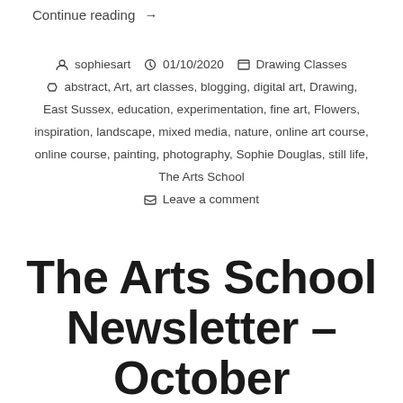Continue reading →
sophiesart  01/10/2020  Drawing Classes  abstract, Art, art classes, blogging, digital art, Drawing, East Sussex, education, experimentation, fine art, Flowers, inspiration, landscape, mixed media, nature, online art course, online course, painting, photography, Sophie Douglas, still life, The Arts School  Leave a comment
The Arts School Newsletter – October